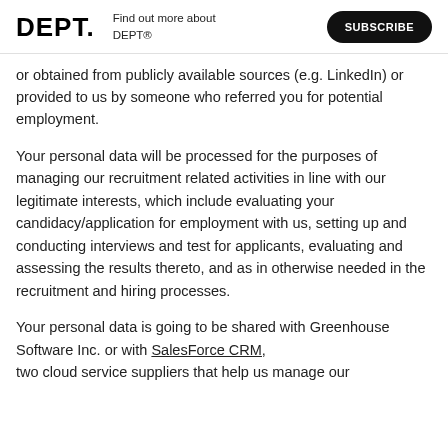DEPT. | Find out more about DEPT® | SUBSCRIBE
or obtained from publicly available sources (e.g. LinkedIn) or provided to us by someone who referred you for potential employment.
Your personal data will be processed for the purposes of managing our recruitment related activities in line with our legitimate interests, which include evaluating your candidacy/application for employment with us, setting up and conducting interviews and test for applicants, evaluating and assessing the results thereto, and as in otherwise needed in the recruitment and hiring processes.
Your personal data is going to be shared with Greenhouse Software Inc. or with SalesForce CRM, two cloud service suppliers that help us manage our